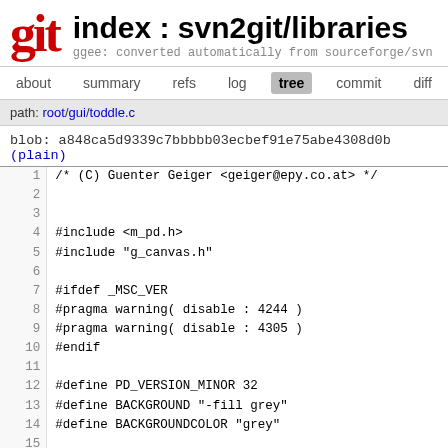git   index : svn2git/libraries
ggee: converted automatically from sourceforge/svn
about  summary  refs  log  tree  commit  diff  l
path: root/gui/toddle.c
blob: a848ca5d9339c7bbbbb03ecbef91e75abe4308d0b (plain)
1  /* (C) Guenter Geiger <geiger@epy.co.at> */
2
3
4  #include <m_pd.h>
5  #include "g_canvas.h"
6
7  #ifdef _MSC_VER
8  #pragma warning( disable : 4244 )
9  #pragma warning( disable : 4305 )
10 #endif
11
12 #define PD_VERSION_MINOR 32
13 #define BACKGROUND "-fill grey"
14 #define BACKGROUNDCOLOR "grey"
15
16
17 #define to_xpos_to_xpix_